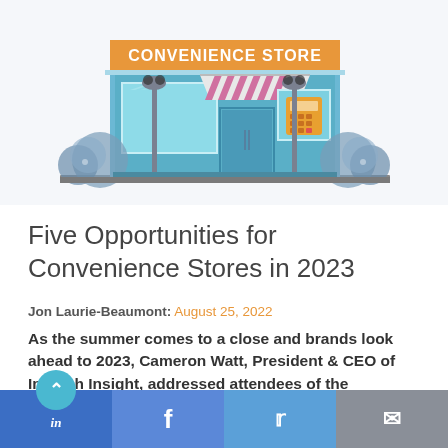[Figure (illustration): Flat vector illustration of a convenience store building with teal/blue façade, striped pink-white awning, large display windows, street lamps on either side, decorative bushes, and an orange 'CONVENIENCE STORE' sign on the front.]
Five Opportunities for Convenience Stores in 2023
Jon Laurie-Beaumont: August 25, 2022
As the summer comes to a close and brands look ahead to 2023, Cameron Watt, President & CEO of Intouch Insight, addressed attendees of the Outlook...